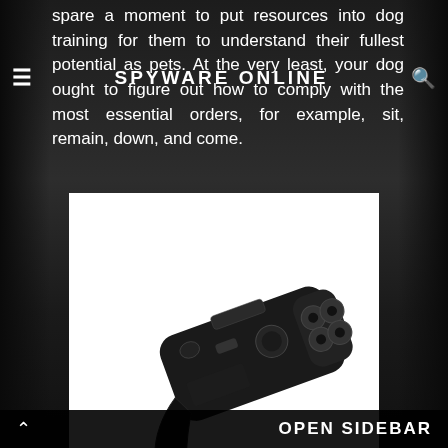spare a moment to put resources into dog training for them to understand their fullest potential as pets. At the very least, your dog ought to figure out how to comply with the most essential orders, for example, sit, remain, down, and come.
≡  SPYWARE ONLINE  🔍
[Figure (photo): A black handheld ultrasonic dog repeller/trainer device with a wrist strap, photographed on a white background.]
On the off chance that you are a dog proprietor, you in all likelihood know that there are dog training devices you ought to get the opportunity to help make training simpler. Instruments, for example, clickers,
OPEN SIDEBAR